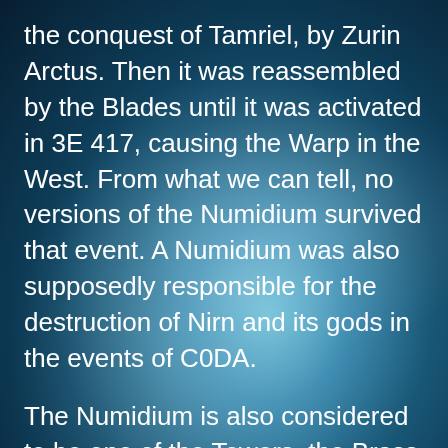the conquest of Tamriel, by Zurin Arctus. Then it was reassembled by the Blades until it was activated in 3E 417, causing the Warp in the West. From what we can tell, no versions of the Numidium survived that event. A Numidium was also supposedly responsible for the destruction of Nirn and its gods in the events of C0DA.
The Numidium is also considered to be one of the Towers, the Brass Tower, or Walk-Brass. I suppose that it would count as a Merethic Tower, as it was built by the Dwemer, but it doesn't really fit into the strict categories for